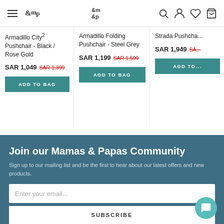m&p (Mamas & Papas) navigation header with menu, logo, search, account, wishlist, and bag icons
Armadillo City² Pushchair - Black / Rose Gold
SAR 1,049  SAR 1,399
ADD TO BAG
Armadillo Folding Pushchair - Steel Grey
SAR 1,199  SAR 1,599
ADD TO BAG
Strada Pushcha...
SAR 1,949  SA...
ADD TO...
Join our Mamas & Papas Community
Sign up to our mailing list and be the first to hear about our latest offers and new products.
Enter your email...
SUBSCRIBE